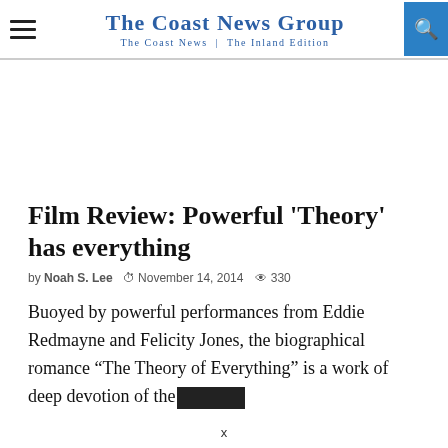The Coast News Group — The Coast News | The Inland Edition
Film Review: Powerful ‘Theory’ has everything
by Noah S. Lee  November 14, 2014  330
Buoyed by powerful performances from Eddie Redmayne and Felicity Jones, the biographical romance “The Theory of Everything” is a work of deep devotion of the…